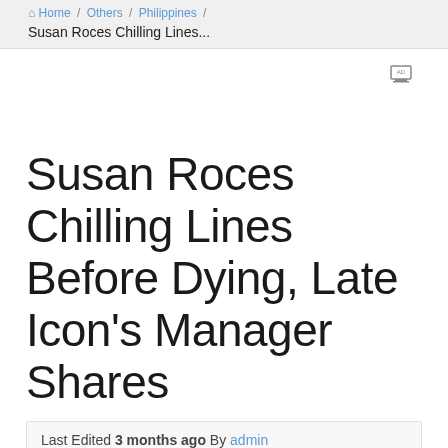Home / Others / Philippines / Susan Roces Chilling Lines...
[Figure (other): Small advertisement or image icon in the top right area of the page]
Susan Roces Chilling Lines Before Dying, Late Icon's Manager Shares
Last Edited 3 months ago By admin